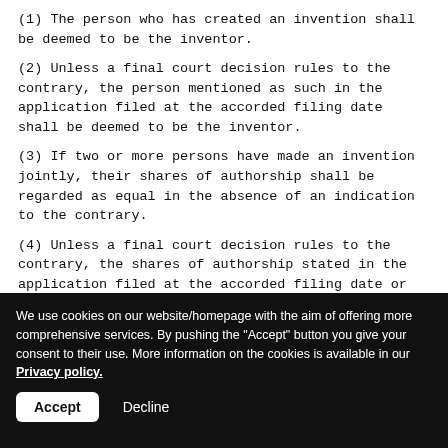(1) The person who has created an invention shall be deemed to be the inventor.
(2) Unless a final court decision rules to the contrary, the person mentioned as such in the application filed at the accorded filing date shall be deemed to be the inventor.
(3) If two or more persons have made an invention jointly, their shares of authorship shall be regarded as equal in the absence of an indication to the contrary.
(4) Unless a final court decision rules to the contrary, the shares of authorship stated in the application filed at the accorded filing date or as determined under paragraph (3) shall be deemed applicable.
We use cookies on our website/homepage with the aim of offering more comprehensive services. By pushing the "Accept" button you give your consent to their use. More information on the cookies is available in our Privacy policy.
Accept   Decline